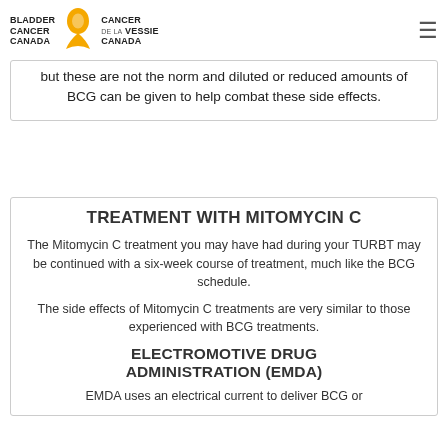Bladder Cancer Canada | Cancer de la Vessie Canada
but these are not the norm and diluted or reduced amounts of BCG can be given to help combat these side effects.
TREATMENT WITH MITOMYCIN C
The Mitomycin C treatment you may have had during your TURBT may be continued with a six-week course of treatment, much like the BCG schedule.
The side effects of Mitomycin C treatments are very similar to those experienced with BCG treatments.
ELECTROMOTIVE DRUG ADMINISTRATION (EMDA)
EMDA uses an electrical current to deliver BCG or